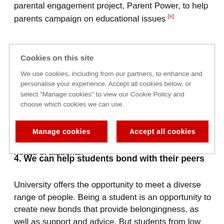parental engagement project, Parent Power, to help parents campaign on educational issues [x]
Cookies on this site

We use cookies, including from our partners, to enhance and personalise your experience. Accept all cookies below, or select “Manage cookies” to view our Cookie Policy and choose which cookies we can use.

[Manage cookies] [Accept all cookies]
make sure they are appealing to and meeting the needs of students.
4. We can help students bond with their peers
University offers the opportunity to meet a diverse range of people. Being a student is an opportunity to create new bonds that provide belongingness, as well as support and advice. But students from low income backgrounds seem to be less likely